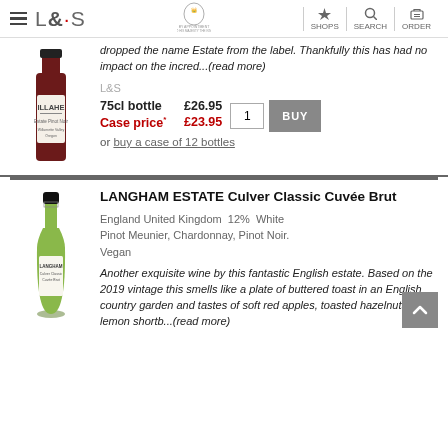L&S — SHOPS | SEARCH | ORDER
dropped the name Estate from the label. Thankfully this has had no impact on the incred...(read more)
L&S
75cl bottle   £26.95
Case price*   £23.95
or buy a case of 12 bottles
LANGHAM ESTATE Culver Classic Cuvée Brut
England United Kingdom  12%  White Pinot Meunier, Chardonnay, Pinot Noir. Vegan
Another exquisite wine by this fantastic English estate. Based on the 2019 vintage this smells like a plate of buttered toast in an English country garden and tastes of soft red apples, toasted hazelnuts and lemon shortb...(read more)